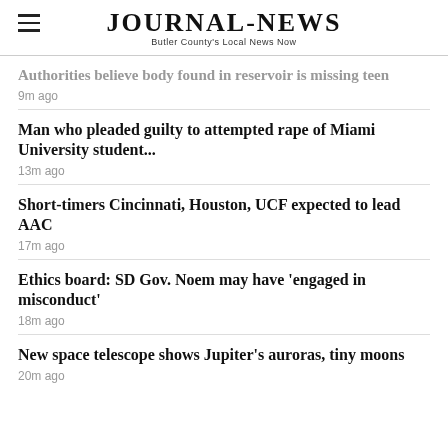JOURNAL-NEWS Butler County's Local News Now
Authorities believe body found in reservoir is missing teen
9m ago
Man who pleaded guilty to attempted rape of Miami University student...
13m ago
Short-timers Cincinnati, Houston, UCF expected to lead AAC
17m ago
Ethics board: SD Gov. Noem may have 'engaged in misconduct'
18m ago
New space telescope shows Jupiter's auroras, tiny moons
20m ago